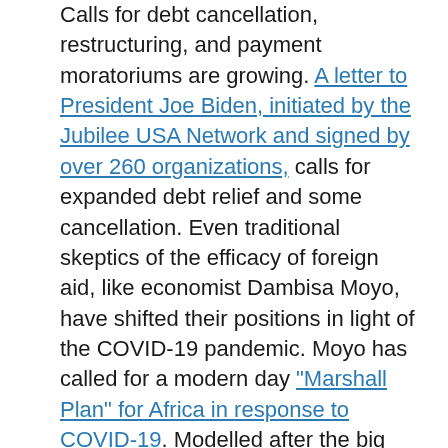Calls for debt cancellation, restructuring, and payment moratoriums are growing. A letter to President Joe Biden, initiated by the Jubilee USA Network and signed by over 260 organizations, calls for expanded debt relief and some cancellation. Even traditional skeptics of the efficacy of foreign aid, like economist Dambisa Moyo, have shifted their positions in light of the COVID-19 pandemic. Moyo has called for a modern day "Marshall Plan" for Africa in response to COVID-19. Modelled after the big aid package that the U.S. provided to European countries after World War II, this plan would provide an opportunity to expand Western influence in the region, especially at a time when China has staked out a position as the "pre-eminent geopolitical force in Africa." This could be an opportunity for the U.S. to re-engage with SSA and gain an ideological and commercial edge over China, mirroring how the U.S. was motivated to create the original Marshall Plan to prevent Europe from aligning with the Soviet Union. In the spirit of the stimulus approach, used in places like the U.S. and Hong Kong, Moyo advocates that donor